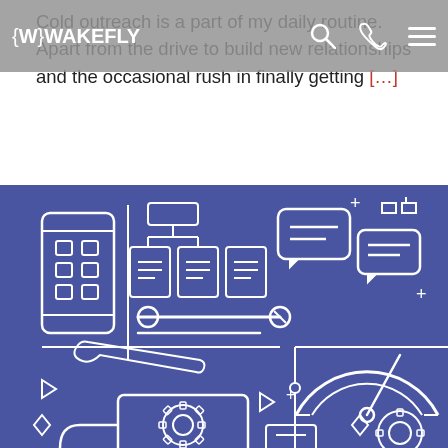Cold outreach is a part of my daily routine. Apart from the drive to build new relationships and the occasional rush in finally getting […]
{W} WAKEFLY
[Figure (illustration): Blue background illustration with white line-art icons depicting various digital/tech tools: a smartphone with grid icons, a flowchart/document hierarchy, speech bubbles, tools (screwdriver, wrench), a speedometer/gauge, a desktop monitor with gear, and other UI elements.]